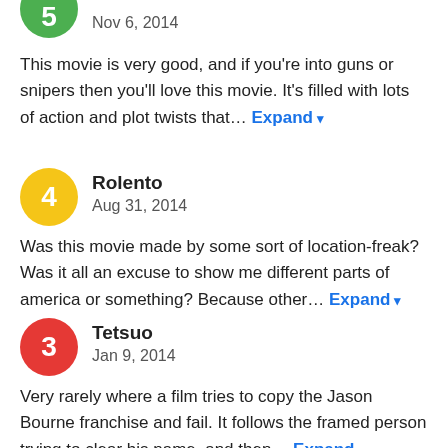[Figure (other): Green circular avatar with number (partially visible at top)]
Nov 6, 2014
This movie is very good, and if you're into guns or snipers then you'll love this movie. It's filled with lots of action and plot twists that… Expand
[Figure (other): Yellow circular avatar with number 4]
Rolento
Aug 31, 2014
Was this movie made by some sort of location-freak? Was it all an excuse to show me different parts of america or something? Because other… Expand
[Figure (other): Red circular avatar with number 3]
Tetsuo
Jan 9, 2014
Very rarely where a film tries to copy the Jason Bourne franchise and fail. It follows the framed person trying to clear his name, and then… Expand